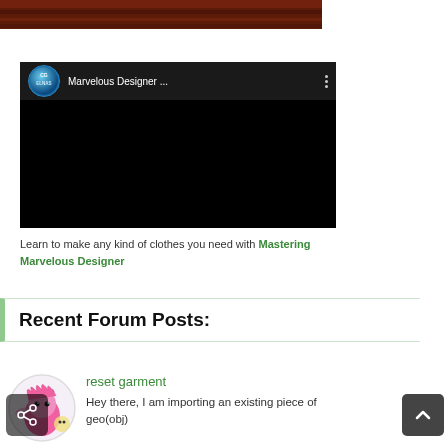[Figure (photo): Top portion of a wooden door or panel, dark reddish-brown color]
[Figure (screenshot): Embedded YouTube-style video player with dark background. Shows CG Elnas channel logo (blue circle with CG ELNAS text) and title 'Marvelous Designer ...' with three-dot menu icon. Video content area is black.]
Learn to make any kind of clothes you need with Mastering Marvelous Designer
Recent Forum Posts:
[Figure (illustration): Pink cartoon character avatar with spiky hair]
reset garment
Hey there, I am importing an existing piece of geo(obj)